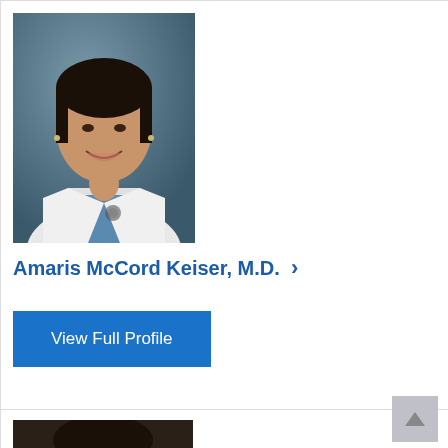[Figure (photo): Professional headshot of Dr. Amaris McCord Keiser wearing a white coat and blue scrubs, smiling, with dark background]
Amaris McCord Keiser, M.D.  >
View Full Profile
[Figure (photo): Partial view of another doctor's headshot at the bottom of the page, appears to be cropped]